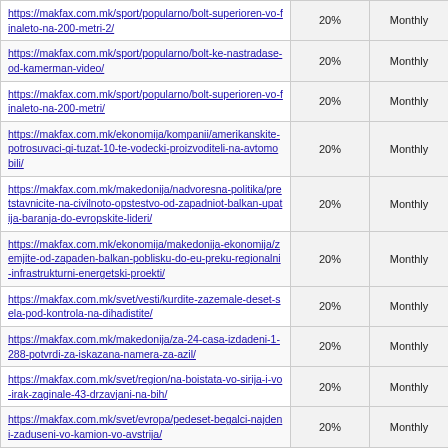| URL | 20% | Monthly |
| --- | --- | --- |
| https://makfax.com.mk/sport/popularno/bolt-superioren-vo-finaleto-na-200-metri-2/ | 20% | Monthly |
| https://makfax.com.mk/sport/popularno/bolt-ke-nastradase-od-kamerman-video/ | 20% | Monthly |
| https://makfax.com.mk/sport/popularno/bolt-superioren-vo-finaleto-na-200-metri/ | 20% | Monthly |
| https://makfax.com.mk/ekonomija/kompanii/amerikanskite-potrosuvaci-gi-tuzat-10-te-vodecki-proizvoditeli-na-avtomobili/ | 20% | Monthly |
| https://makfax.com.mk/makedonija/nadvoresna-politika/pretstavnicite-na-civilnoto-opstestvo-od-zapadniot-balkan-upatija-baranja-do-evropskite-lideri/ | 20% | Monthly |
| https://makfax.com.mk/ekonomija/makedonija-ekonomija/zemjite-od-zapaden-balkan-poblisku-do-eu-preku-regionalni-infrastrukturni-energetski-proekti/ | 20% | Monthly |
| https://makfax.com.mk/svet/vesti/kurdite-zazemale-deset-sela-pod-kontrola-na-dihadistite/ | 20% | Monthly |
| https://makfax.com.mk/makedonija/za-24-casa-izdadeni-1-288-potvrdi-za-iskazana-namera-za-azil/ | 20% | Monthly |
| https://makfax.com.mk/svet/region/na-boistata-vo-sirija-i-vo-irak-zaginale-43-drzavjani-na-bih/ | 20% | Monthly |
| https://makfax.com.mk/svet/evropa/pedeset-begalci-najdeni-zaduseni-vo-kamion-vo-avstrija/ | 20% | Monthly |
| https://makfax.com.mk/svet/evropa/germanija-so-plan-od-deset-tocki-vo-vrska-so-politikata-kon-begalcite/ | 20% | Monthly |